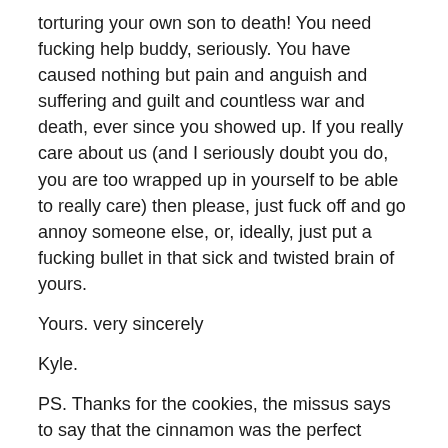torturing your own son to death! You need fucking help buddy, seriously. You have caused nothing but pain and anguish and suffering and guilt and countless war and death, ever since you showed up. If you really care about us (and I seriously doubt you do, you are too wrapped up in yourself to be able to really care) then please, just fuck off and go annoy someone else, or, ideally, just put a fucking bullet in that sick and twisted brain of yours.
Yours. very sincerely
Kyle.
PS. Thanks for the cookies, the missus says to say that the cinnamon was the perfect touch.
PPS. Stop watching me when I masturbate, you fucking pervert.